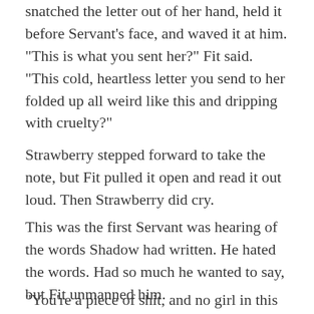snatched the letter out of her hand, held it before Servant’s face, and waved it at him. “This is what you sent her?” Fit said. “This cold, heartless letter you send to her folded up all weird like this and dripping with cruelty?”
Strawberry stepped forward to take the note, but Fit pulled it open and read it out loud. Then Strawberry did cry.
This was the first Servant was hearing of the words Shadow had written. He hated the words. Had so much he wanted to say, but Fit unmanned him.
“You’re a piece of shit, and no girl in this school will ever go out with you ever again. I hope you like